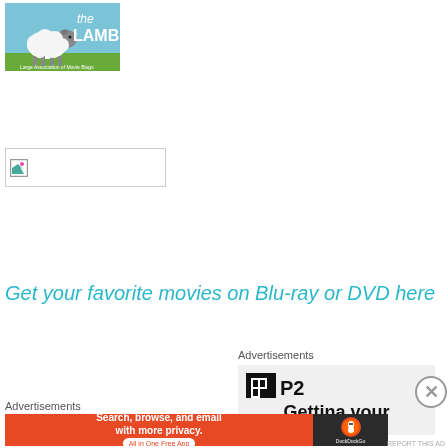[Figure (logo): The LAMB logo with cartoon sheep illustration]
[Figure (illustration): Broken image placeholder with small icon and text box border]
Get your favorite movies on Blu-ray or DVD here
Advertisements
[Figure (logo): P2 logo on grey background advertisement]
[Figure (screenshot): Getting your text partial advertisement]
Advertisements
[Figure (screenshot): DuckDuckGo advertisement - Search, browse, and email with more privacy. All in One Free App]